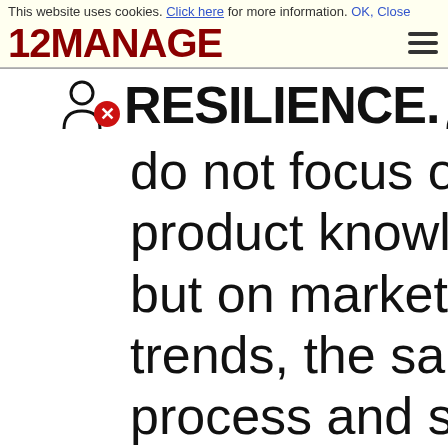This website uses cookies. Click here for more information. OK, Close
[Figure (logo): 12MANAGE logo in dark red bold text with hamburger menu icon]
RESILIENCE.
do not focus on product knowledge but on market trends, the sales process and se...